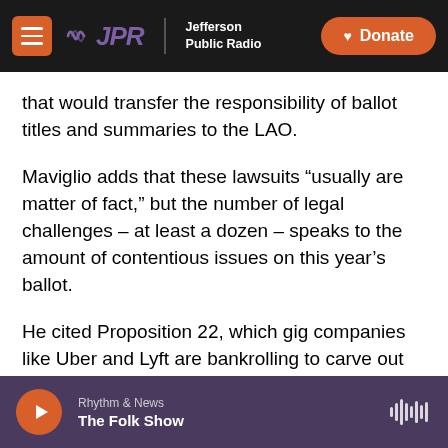JPR Jefferson Public Radio | Donate
that would transfer the responsibility of ballot titles and summaries to the LAO.
Maviglio adds that these lawsuits “usually are matter of fact,” but the number of legal challenges – at least a dozen – speaks to the amount of contentious issues on this year’s ballot.
He cited Proposition 22, which gig companies like Uber and Lyft are bankrolling to carve out exemptions for their drivers from California’s new labor law. The proposition is “probably even one of the most expensive ones we’ll ever see. The split-
Rhythm & News | The Folk Show